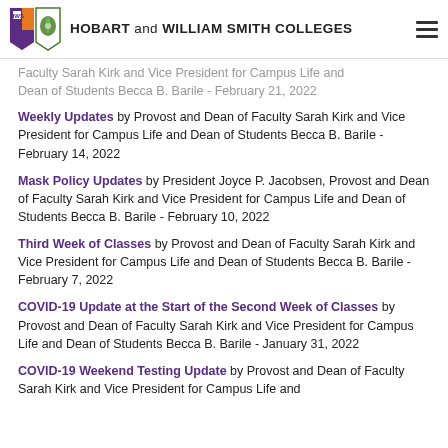Hobart and William Smith Colleges
Faculty Sarah Kirk and Vice President for Campus Life and Dean of Students Becca B. Barile - February 21, 2022
Weekly Updates by Provost and Dean of Faculty Sarah Kirk and Vice President for Campus Life and Dean of Students Becca B. Barile - February 14, 2022
Mask Policy Updates by President Joyce P. Jacobsen, Provost and Dean of Faculty Sarah Kirk and Vice President for Campus Life and Dean of Students Becca B. Barile - February 10, 2022
Third Week of Classes by Provost and Dean of Faculty Sarah Kirk and Vice President for Campus Life and Dean of Students Becca B. Barile - February 7, 2022
COVID-19 Update at the Start of the Second Week of Classes by Provost and Dean of Faculty Sarah Kirk and Vice President for Campus Life and Dean of Students Becca B. Barile - January 31, 2022
COVID-19 Weekend Testing Update by Provost and Dean of Faculty Sarah Kirk and Vice President for Campus Life and